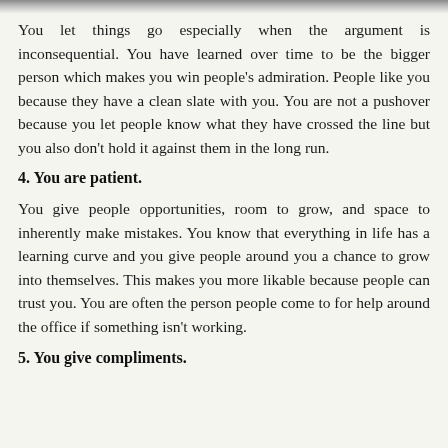You let things go especially when the argument is inconsequential. You have learned over time to be the bigger person which makes you win people's admiration. People like you because they have a clean slate with you. You are not a pushover because you let people know what they have crossed the line but you also don't hold it against them in the long run.
4. You are patient.
You give people opportunities, room to grow, and space to inherently make mistakes. You know that everything in life has a learning curve and you give people around you a chance to grow into themselves. This makes you more likable because people can trust you. You are often the person people come to for help around the office if something isn't working.
5. You give compliments.